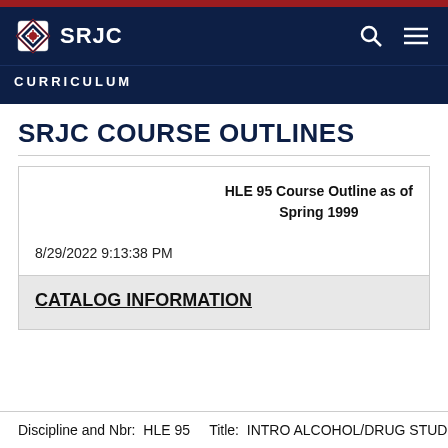SRJC CURRICULUM
SRJC COURSE OUTLINES
HLE 95 Course Outline as of Spring 1999
8/29/2022 9:13:38 PM
CATALOG INFORMATION
Discipline and Nbr: HLE 95    Title: INTRO ALCOHOL/DRUG STUD